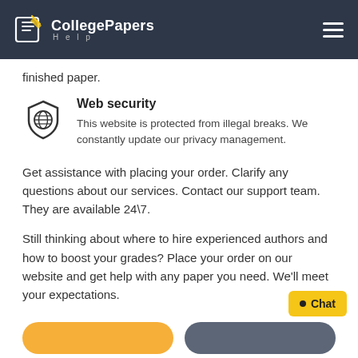CollegePapers Help
finished paper.
Web security
This website is protected from illegal breaks. We constantly update our privacy management.
Get assistance with placing your order. Clarify any questions about our services. Contact our support team. They are available 24\7.
Still thinking about where to hire experienced authors and how to boost your grades? Place your order on our website and get help with any paper you need. We’ll meet your expectations.